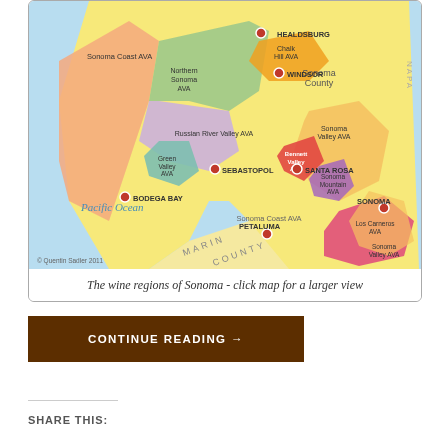[Figure (map): A colorful map of the wine regions (AVAs) of Sonoma County, California. Shows labeled AVAs including Sonoma Coast AVA, Northern Sonoma AVA, Russian River Valley AVA, Green Valley AVA, Chalk Hill AVA, Bennett Valley AVA, Sonoma Valley AVA, Sonoma Mountain AVA, Los Carneros AVA, and others. Cities marked with red dots: Healdsburg, Windsor, Sebastopol, Santa Rosa, Bodega Bay, Petaluma, Sonoma. Geographic labels include Marin County, Pacific Ocean, Napa Valley (partial). Copyright: Quentin Sadler 2011.]
The wine regions of Sonoma - click map for a larger view
CONTINUE READING →
SHARE THIS: